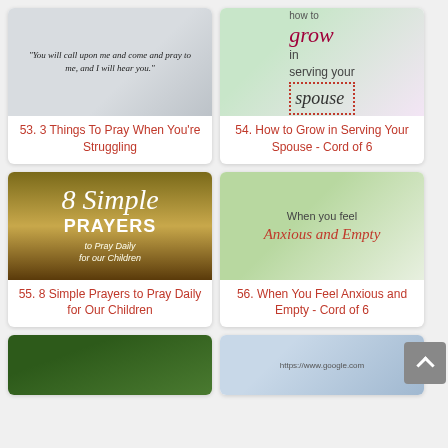[Figure (photo): Decorative image with handwritten scripture text: 'You will call upon me and come and pray to me, and I will hear you.' on a desk background]
53. 3 Things To Pray When You're Struggling
[Figure (photo): Text image reading 'how to grow in serving your spouse' with decorative dotted border]
54. How to Grow in Serving Your Spouse - Cord of 6
[Figure (photo): Book image with text '8 Simple PRAYERS to Pray Daily for our Children' on golden brown background]
55. 8 Simple Prayers to Pray Daily for Our Children
[Figure (photo): Outdoor nature image with text 'When you feel Anxious and Empty']
56. When You Feel Anxious and Empty - Cord of 6
[Figure (photo): Partial image - dark green outdoor scene]
[Figure (screenshot): Partial image - screenshot showing https://www.google.com]